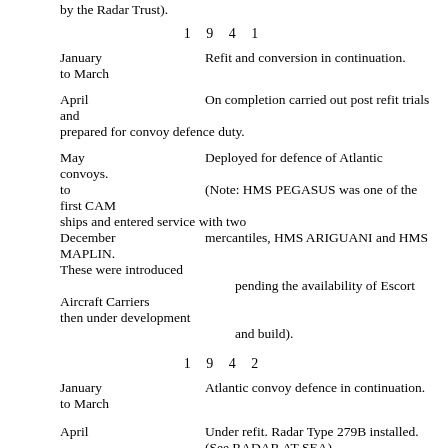by the Radar Trust).
1 9 4 1
January
to March		Refit and conversion in continuation.
April		On completion carried out post refit trials and prepared for convoy defence duty.
May		Deployed for defence of Atlantic convoys.
to		(Note:  HMS PEGASUS was one of the first CAM ships and entered service with two
December		mercantiles, HMS ARIGUANI and HMS MAPLIN. These were introduced
			pending the availability of Escort Aircraft Carriers then under development
			and build).
1 9 4 2
January
to March		Atlantic convoy defence in continuation.
April		Under refit. Radar Type 279B installed.
			(See RADAR AT SEA).
May		Resumed Atlantic convoy defence duty.